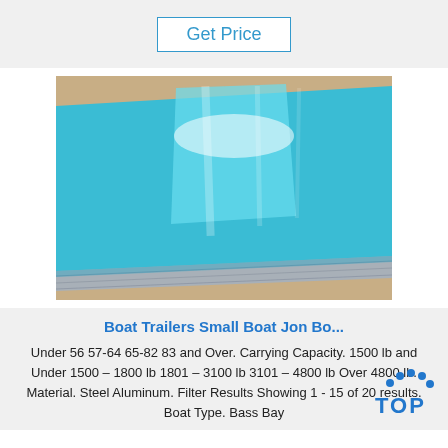Get Price
[Figure (photo): Stack of blue-coated aluminum sheets with silver metallic edge visible, photographed on a beige/brown background]
Boat Trailers Small Boat Jon Bo...
Under 56 57-64 65-82 83 and Over. Carrying Capacity. 1500 lb and Under 1500 – 1800 lb 1801 – 3100 lb 3101 – 4800 lb Over 4800 lb. Material. Steel Aluminum. Filter Results Showing 1 - 15 of 20 results. Boat Type. Bass Bay
[Figure (logo): TOP logo with blue dotted arc above the word TOP in blue]